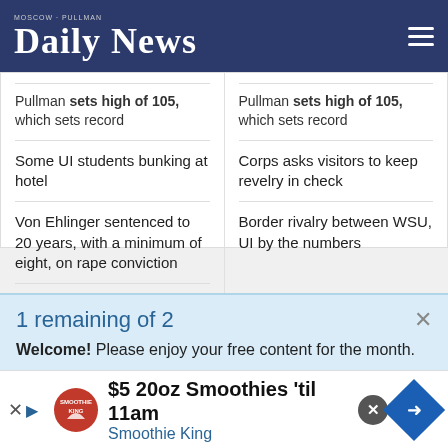Moscow-Pullman Daily News
Some UI students bunking at hotel
Von Ehlinger sentenced to 20 years, with a minimum of eight, on rape conviction
Photo: Crash aftermath
Pullman sets high of 105, which sets record
Corps asks visitors to keep revelry in check
Border rivalry between WSU, UI by the numbers
[Figure (screenshot): Advertisement banner: Welcome to the Rodeo, yellow background with cowboy illustration]
1 remaining of 2
Welcome! Please enjoy your free content for the month.
[Figure (screenshot): Bottom advertisement: $5 20oz Smoothies 'til 11am - Smoothie King]